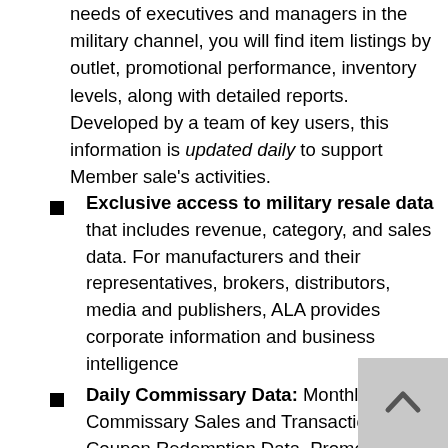needs of executives and managers in the military channel, you will find item listings by outlet, promotional performance, inventory levels, along with detailed reports. Developed by a team of key users, this information is updated daily to support Member sale's activities.
Exclusive access to military resale data that includes revenue, category, and sales data. For manufacturers and their representatives, brokers, distributors, media and publishers, ALA provides corporate information and business intelligence
Daily Commissary Data: Monthly Commissary Sales and Transactions, Coupon Redemption Data, Promotional Data, Bi-Weekly Fill Rate Reports, Commissary Presentations to Industry, Demographics and